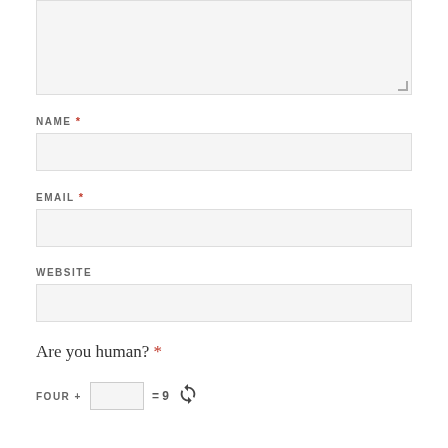[Textarea input field]
NAME *
[Name input field]
EMAIL *
[Email input field]
WEBSITE
[Website input field]
Are you human? *
FOUR + [input] = 9 [refresh]